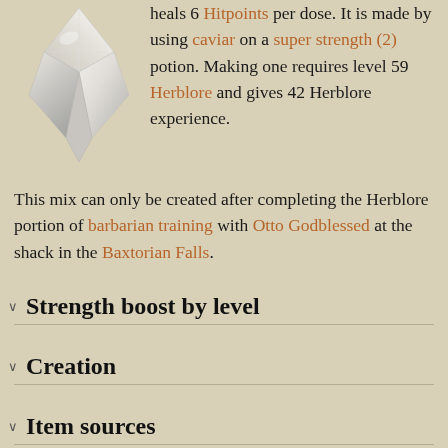[Figure (illustration): A white/silver gemstone or crystal item icon, faceted diamond-like shape]
heals 6 Hitpoints per dose. It is made by using caviar on a super strength (2) potion. Making one requires level 59 Herblore and gives 42 Herblore experience.
This mix can only be created after completing the Herblore portion of barbarian training with Otto Godblessed at the shack in the Baxtorian Falls.
Strength boost by level
Creation
Item sources